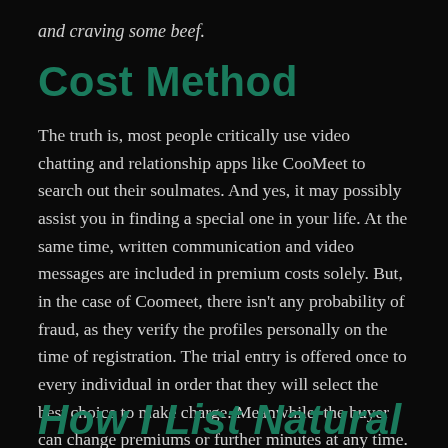and craving some beef.
Cost Method
The truth is, most people critically use video chatting and relationship apps like CooMeet to search out their soulmates. And yes, it may possibly assist you in finding a special one in your life. At the same time, written communication and video messages are included in premium costs solely. But, in the case of Coomeet, there isn't any probability of fraud, as they verify the profiles personally on the time of registration. The trial entry is offered once to every individual in order that they will select the best choice to make charge. Meanwhile, the buyer can change premiums or further minutes at any time.
How I List Natural Site...